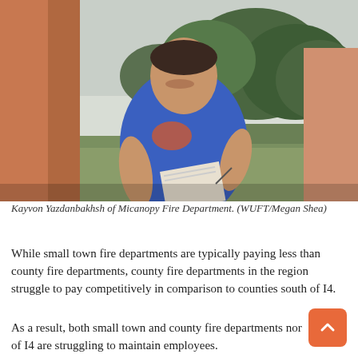[Figure (photo): A young man wearing a blue Gators t-shirt smiling and leaning against an orange/terracotta wall, holding papers/a notebook. Trees and greenery visible in background.]
Kayvon Yazdanbakhsh of Micanopy Fire Department. (WUFT/Megan Shea)
While small town fire departments are typically paying less than county fire departments, county fire departments in the region struggle to pay competitively in comparison to counties south of I4.
As a result, both small town and county fire departments north of I4 are struggling to maintain employees.